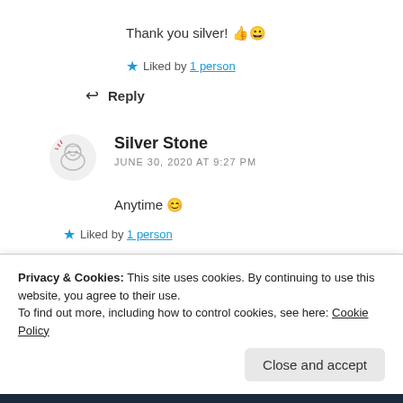Thank you silver! 👍😀
★ Liked by 1 person
↩ Reply
Silver Stone
JUNE 30, 2020 AT 9:27 PM
Anytime 😊
★ Liked by 1 person
Privacy & Cookies: This site uses cookies. By continuing to use this website, you agree to their use.
To find out more, including how to control cookies, see here: Cookie Policy
Close and accept